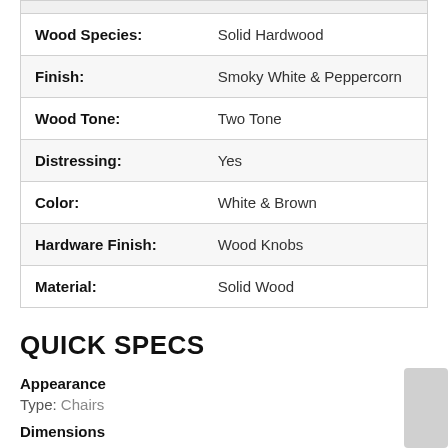| Attribute | Value |
| --- | --- |
| Wood Species: | Solid Hardwood |
| Finish: | Smoky White & Peppercorn |
| Wood Tone: | Two Tone |
| Distressing: | Yes |
| Color: | White & Brown |
| Hardware Finish: | Wood Knobs |
| Material: | Solid Wood |
QUICK SPECS
Appearance
Type: Chairs
Dimensions